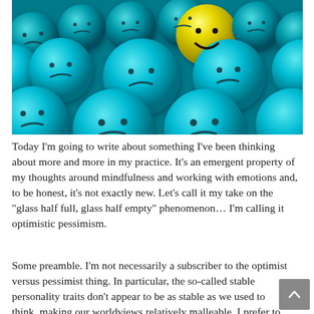[Figure (photo): A crowd of cyan/teal 3D emoji balls with sad/frowning faces, with one yellow smiley face ball standing out in the center-upper area.]
Today I'm going to write about something I've been thinking about more and more in my practice. It's an emergent property of my thoughts around mindfulness and working with emotions and, to be honest, it's not exactly new. Let's call it my take on the "glass half full, glass half empty" phenomenon... I'm calling it optimistic pessimism.
Some preamble. I'm not necessarily a subscriber to the optimist versus pessimist thing. In particular, the so-called stable personality traits don't appear to be as stable as we used to think, making our worldviews relatively malleable. I prefer to think of these outlooks